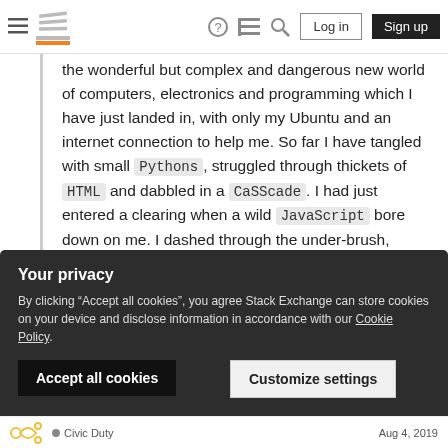Stack Exchange navigation header with hamburger menu, logo, help, chat, search icons, Log in and Sign up buttons
the wonderful but complex and dangerous new world of computers, electronics and programming which I have just landed in, with only my Ubuntu and an internet connection to help me. So far I have tangled with small Pythons, struggled through thickets of HTML and dabbled in a CaSScade. I had just entered a clearing when a wild JavaScript bore down on me. I dashed through the under-brush, managing to escape. However, in my mad rush I disturbed something. The only thing I could do was
Read more
Your privacy
By clicking “Accept all cookies”, you agree Stack Exchange can store cookies on your device and disclose information in accordance with our Cookie Policy.
Accept all cookies
Customize settings
Civic Duty   Aug 4, 2019